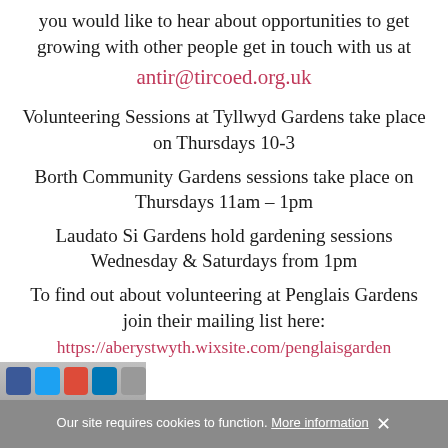you would like to hear about opportunities to get growing with other people get in touch with us at
antir@tircoed.org.uk
Volunteering Sessions at Tyllwyd Gardens take place on Thursdays 10-3
Borth Community Gardens sessions take place on Thursdays 11am – 1pm
Laudato Si Gardens hold gardening sessions Wednesday & Saturdays from 1pm
To find out about volunteering at Penglais Gardens join their mailing list here:
https://aberystwyth.wixsite.com/penglaisgarden
Our site requires cookies to function. More information ✕